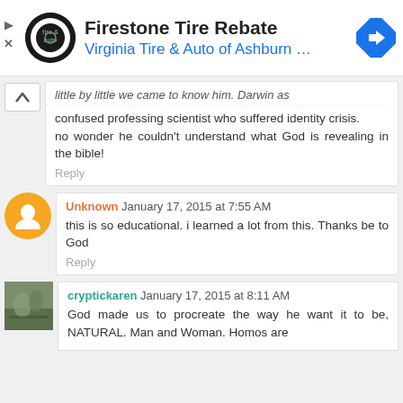[Figure (screenshot): Advertisement banner for Firestone Tire Rebate - Virginia Tire & Auto of Ashburn with logo and arrow icon]
little by little we came to know him. Darwin as confused professing scientist who suffered identity crisis.
no wonder he couldn't understand what God is revealing in the bible!
Reply
Unknown January 17, 2015 at 7:55 AM
this is so educational. i learned a lot from this. Thanks be to God
Reply
cryptickaren January 17, 2015 at 8:11 AM
God made us to procreate the way he want it to be, NATURAL. Man and Woman. Homos are